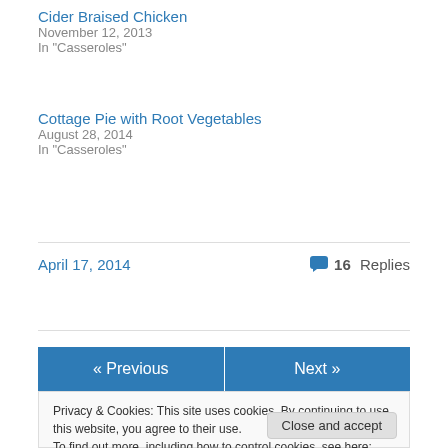Cider Braised Chicken
November 12, 2013
In "Casseroles"
Cottage Pie with Root Vegetables
August 28, 2014
In "Casseroles"
April 17, 2014
16 Replies
« Previous
Next »
Privacy & Cookies: This site uses cookies. By continuing to use this website, you agree to their use.
To find out more, including how to control cookies, see here: Cookie Policy
Close and accept